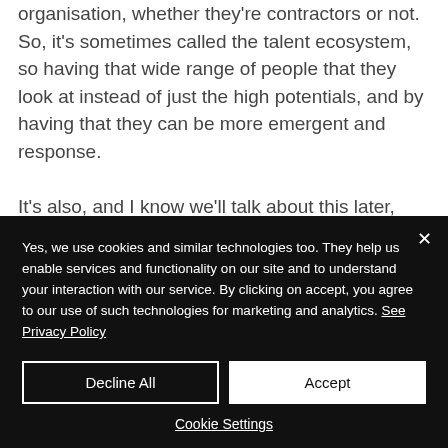organisation, whether they're contractors or not. So, it's sometimes called the talent ecosystem, so having that wide range of people that they look at instead of just the high potentials, and by having that they can be more emergent and response.

It's also, and I know we'll talk about this later, it's...
Yes, we use cookies and similar technologies too. They help us enable services and functionality on our site and to understand your interaction with our service. By clicking on accept, you agree to our use of such technologies for marketing and analytics. See Privacy Policy
Decline All
Accept
Cookie Settings